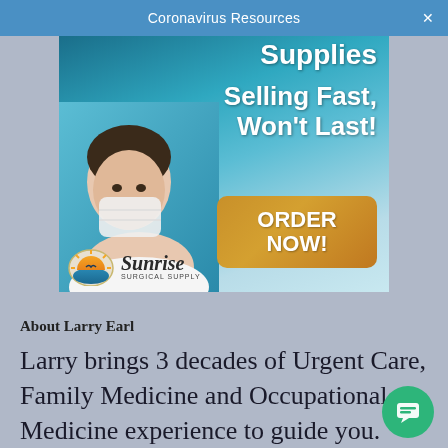Coronavirus Resources
[Figure (photo): Advertisement for Sunrise Surgical Supply showing a person wearing a face mask with text 'Supplies Selling Fast, Won't Last!' and an orange ORDER NOW button, alongside the Sunrise Surgical Supply logo.]
About Larry Earl
Larry brings 3 decades of Urgent Care, Family Medicine and Occupational Medicine experience to guide you.